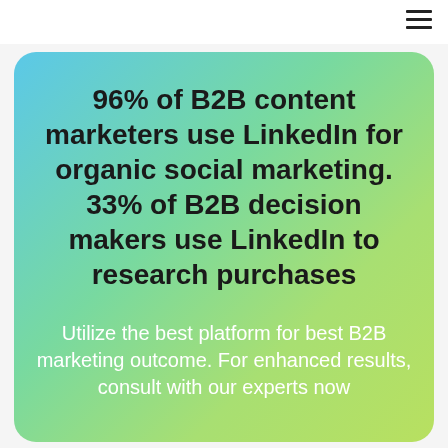96% of B2B content marketers use LinkedIn for organic social marketing. 33% of B2B decision makers use LinkedIn to research purchases
Utilize the best platform for best B2B marketing outcome. For enhanced results, consult with our experts now